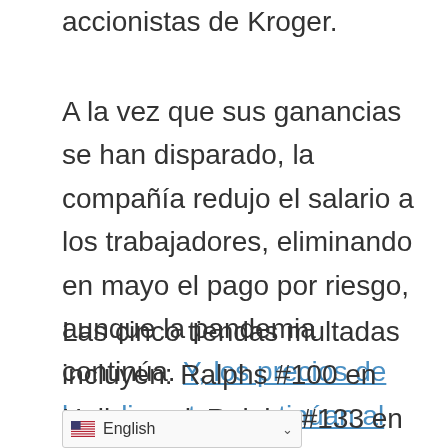accionistas de Kroger.
A la vez que sus ganancias se han disparado, la compañía redujo el salario a los trabajadores, eliminando en mayo el pago por riesgo, aunque la pandemia continúa. Y, los precios de los alimentos continúan al alza para los consumidores.
Las cinco tiendas multadas incluyen: Ralphs #100 en Hollywood; Ralphs #133 en Studio City; Ralphs #284 en Culver City; Ralphs #222 en Sherman Oaks, y Food 4 Less 770 e...sde mayo, más de 25